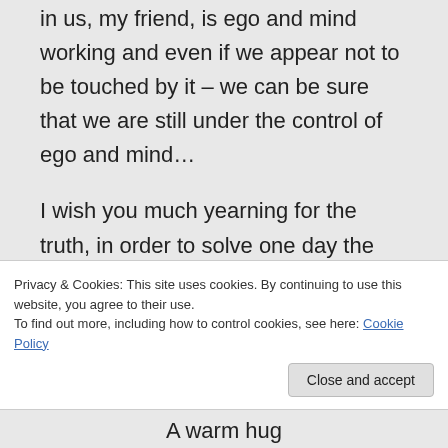in us, my friend, is ego and mind working and even if we appear not to be touched by it – we can be sure that we are still under the control of ego and mind…
I wish you much yearning for the truth, in order to solve one day the riddle of death and life… our aim is: to find
Privacy & Cookies: This site uses cookies. By continuing to use this website, you agree to their use. To find out more, including how to control cookies, see here: Cookie Policy
A warm hug